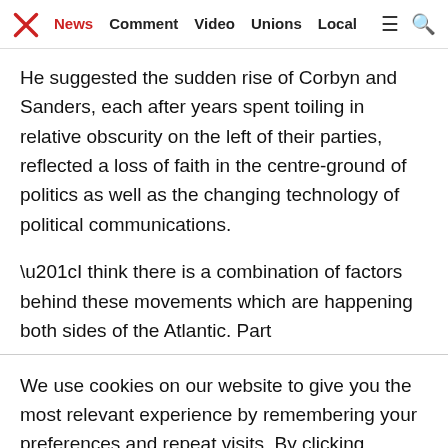News  Comment  Video  Unions  Local
He suggested the sudden rise of Corbyn and Sanders, each after years spent toiling in relative obscurity on the left of their parties, reflected a loss of faith in the centre-ground of politics as well as the changing technology of political communications.
“I think there is a combination of factors behind these movements which are happening both sides of the Atlantic. Part
We use cookies on our website to give you the most relevant experience by remembering your preferences and repeat visits. By clicking “Accept All”, you consent to the use of ALL the cookies. However, you may visit "Cookie Settings" to provide a controlled consent.